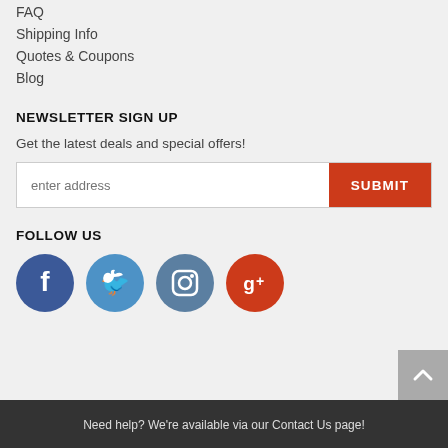FAQ
Shipping Info
Quotes & Coupons
Blog
NEWSLETTER SIGN UP
Get the latest deals and special offers!
[Figure (other): Email address input field with SUBMIT button]
FOLLOW US
[Figure (other): Social media icons: Facebook, Twitter, Instagram, Google+]
Need help? We're available via our Contact Us page!